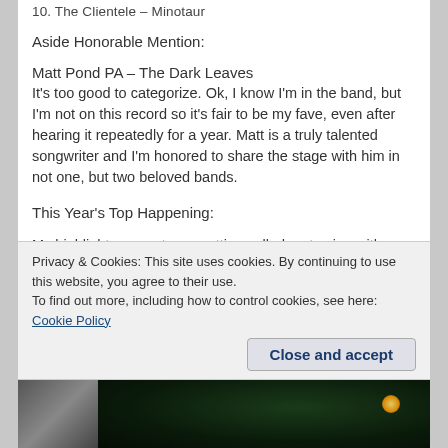10. The Clientele – Minotaur
Aside Honorable Mention:
Matt Pond PA – The Dark Leaves
It's too good to categorize. Ok, I know I'm in the band, but I'm not on this record so it's fair to be my fave, even after hearing it repeatedly for a year. Matt is a truly talented songwriter and I'm honored to share the stage with him in not one, but two beloved bands.
This Year's Top Happening:
My highlight moment was getting called up to sing with Broken Social Scene by the lovely Lisa Lobsinger on Central Park Summer Stage. That came close to
Privacy & Cookies: This site uses cookies. By continuing to use this website, you agree to their use.
To find out more, including how to control cookies, see here: Cookie Policy
Close and accept
[Figure (photo): Photo strip at bottom showing two images: a person on the left and a dark concert/stage scene with an orange light on the right]